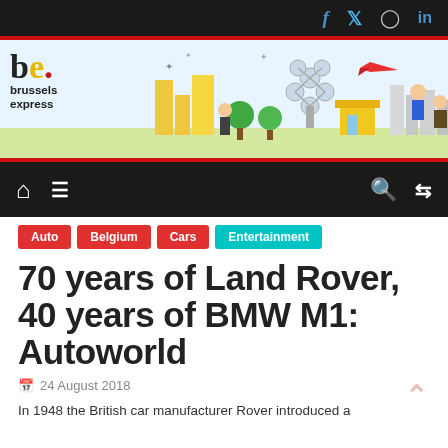Social icons: f (Facebook), Twitter bird, Instagram, in (LinkedIn)
[Figure (logo): Brussels Express newspaper banner logo with illustrated city scene including Atomium, buildings, airplane, cartoon characters]
Navigation bar with home icon, hamburger menu, search icon, shuffle icon
Auto
Belgium
Cars
Entertainment
70 years of Land Rover, 40 years of BMW M1: Autoworld
24 August 2018
In 1948 the British car manufacturer Rover introduced a